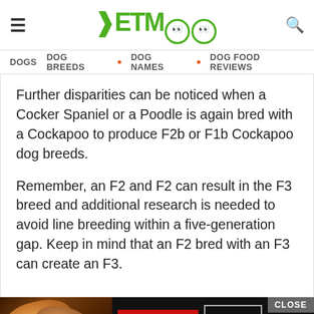PETMOO
DOGS  DOG BREEDS  DOG NAMES  DOG FOOD REVIEWS
Further disparities can be noticed when a Cocker Spaniel or a Poodle is again bred with a Cockapoo to produce F2b or F1b Cockapoo dog breeds.
Remember, an F2 and F2 can result in the F3 breed and additional research is needed to avoid line breeding within a five-generation gap. Keep in mind that an F2 bred with an F3 can create an F3.
[Figure (screenshot): Advertisement banner for Seamless food ordering service showing pizza image, Seamless logo in red, and ORDER NOW button with CLOSE button]
F4 a... th